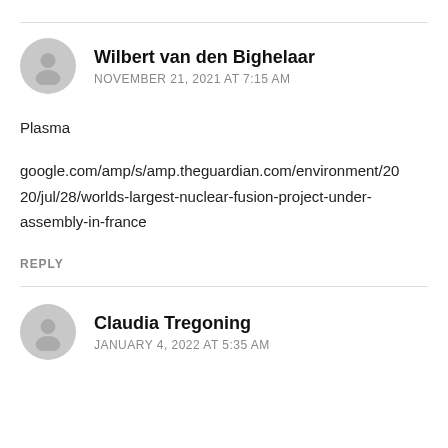[Figure (illustration): Gray circular avatar icon with silhouette of a person, for user Wilbert van den Bighelaar]
Wilbert van den Bighelaar
NOVEMBER 21, 2021 AT 7:15 AM
Plasma
google.com/amp/s/amp.theguardian.com/environment/2020/jul/28/worlds-largest-nuclear-fusion-project-under-assembly-in-france
REPLY
[Figure (illustration): Gray circular avatar icon with silhouette of a person, for user Claudia Tregoning]
Claudia Tregoning
JANUARY 4, 2022 AT 5:35 AM